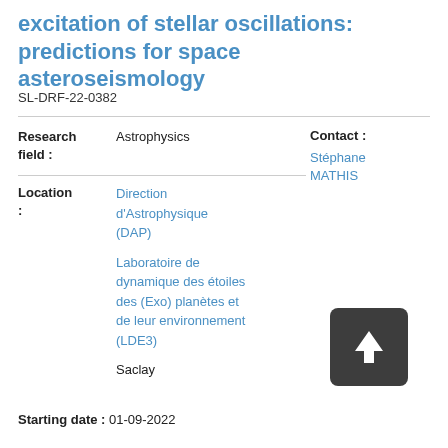excitation of stellar oscillations: predictions for space asteroseismology
SL-DRF-22-0382
| Research field : | Astrophysics |
| Location : | Direction d'Astrophysique (DAP)

Laboratoire de dynamique des étoiles des (Exo) planètes et de leur environnement (LDE3)

Saclay |
Contact :
Stéphane MATHIS
[Figure (illustration): Dark grey rounded square button with a white upward arrow icon]
Starting date : 01-09-2022